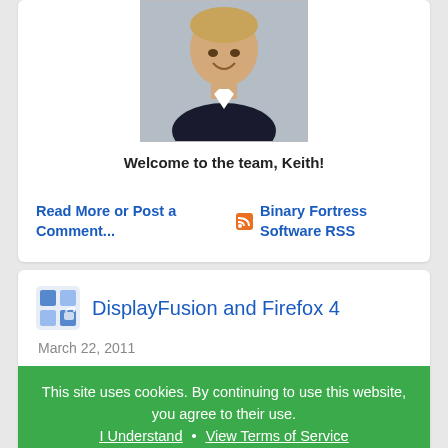[Figure (photo): Headshot photo of a young man smiling, wearing a dark jacket.]
Welcome to the team, Keith!
Read More or Post a Comment...
Binary Fortress Software RSS
DisplayFusion and Firefox 4
March 22, 2011
This site uses cookies. By continuing to use this website, you agree to their use.
I Understand • View Terms of Service
advantage of it's improved Firefox 4 compatibility. You can